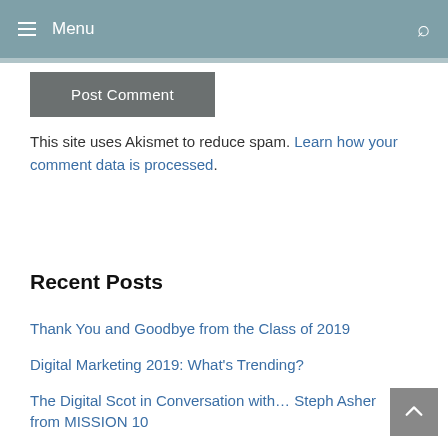Menu
Post Comment
This site uses Akismet to reduce spam. Learn how your comment data is processed.
Recent Posts
Thank You and Goodbye from the Class of 2019
Digital Marketing 2019: What's Trending?
The Digital Scot in Conversation with… Steph Asher from MISSION 10